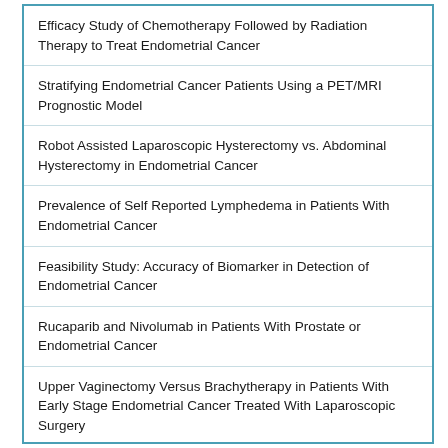Efficacy Study of Chemotherapy Followed by Radiation Therapy to Treat Endometrial Cancer
Stratifying Endometrial Cancer Patients Using a PET/MRI Prognostic Model
Robot Assisted Laparoscopic Hysterectomy vs. Abdominal Hysterectomy in Endometrial Cancer
Prevalence of Self Reported Lymphedema in Patients With Endometrial Cancer
Feasibility Study: Accuracy of Biomarker in Detection of Endometrial Cancer
Rucaparib and Nivolumab in Patients With Prostate or Endometrial Cancer
Upper Vaginectomy Versus Brachytherapy in Patients With Early Stage Endometrial Cancer Treated With Laparoscopic Surgery